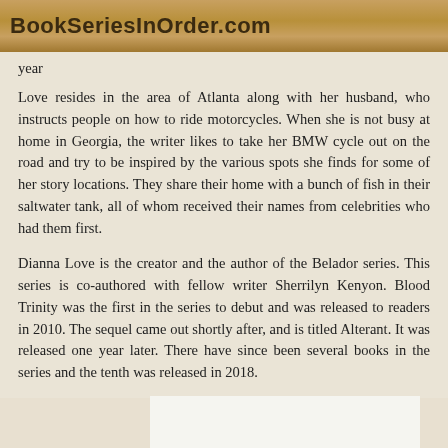BookSeriesInOrder.com
year
Love resides in the area of Atlanta along with her husband, who instructs people on how to ride motorcycles. When she is not busy at home in Georgia, the writer likes to take her BMW cycle out on the road and try to be inspired by the various spots she finds for some of her story locations. They share their home with a bunch of fish in their saltwater tank, all of whom received their names from celebrities who had them first.
Dianna Love is the creator and the author of the Belador series. This series is co-authored with fellow writer Sherrilyn Kenyon. Blood Trinity was the first in the series to debut and was released to readers in 2010. The sequel came out shortly after, and is titled Alterant. It was released one year later. There have since been several books in the series and the tenth was released in 2018.